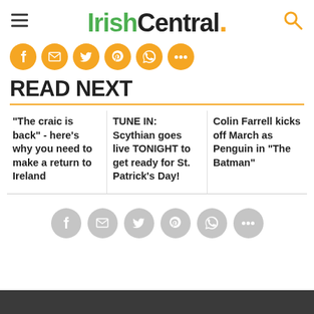IrishCentral.
[Figure (infographic): Row of orange social media share buttons: Facebook, Email, Twitter, Pinterest, WhatsApp, More]
READ NEXT
"The craic is back" - here's why you need to make a return to Ireland
TUNE IN: Scythian goes live TONIGHT to get ready for St. Patrick's Day!
Colin Farrell kicks off March as Penguin in "The Batman"
[Figure (infographic): Row of gray social media share buttons: Facebook, Email, Twitter, Pinterest, WhatsApp, More]